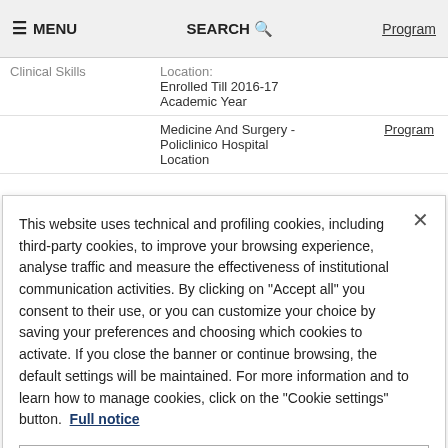≡ MENU   SEARCH 🔍   Program
| Clinical Skills | Location:
Enrolled Till 2016-17 Academic Year |  |
|  | Medicine And Surgery - Policlinico Hospital Location | Program |
This website uses technical and profiling cookies, including third-party cookies, to improve your browsing experience, analyse traffic and measure the effectiveness of institutional communication activities. By clicking on "Accept all" you consent to their use, or you can customize your choice by saving your preferences and choosing which cookies to activate. If you close the banner or continue browsing, the default settings will be maintained. For more information and to learn how to manage cookies, click on the "Cookie settings" button. Full notice
Cookies Settings
Reject All